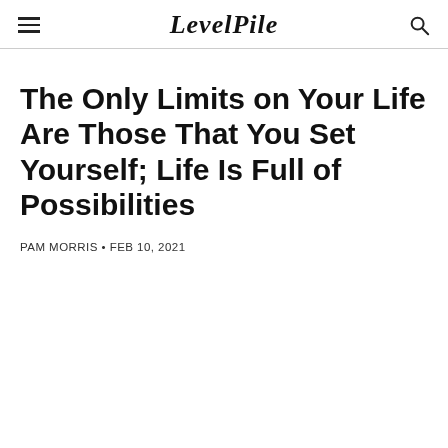LevelPile
The Only Limits on Your Life Are Those That You Set Yourself; Life Is Full of Possibilities
PAM MORRIS • FEB 10, 2021